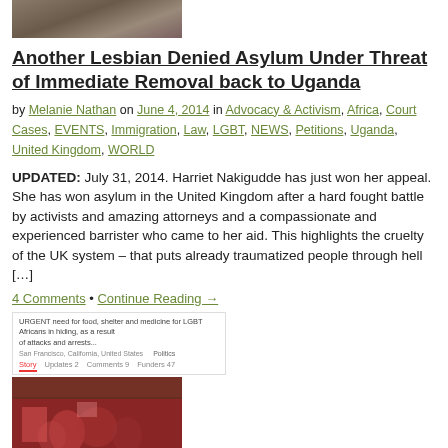[Figure (photo): Partial top image of a person outdoors]
Another Lesbian Denied Asylum Under Threat of Immediate Removal back to Uganda
by Melanie Nathan on June 4, 2014 in Advocacy & Activism, Africa, Court Cases, EVENTS, Immigration, Law, LGBT, NEWS, Petitions, Uganda, United Kingdom, WORLD
UPDATED: July 31, 2014. Harriet Nakigudde has just won her appeal. She has won asylum in the United Kingdom after a hard fought battle by activists and amazing attorneys and a compassionate and experienced barrister who came to her aid. This highlights the cruelty of the UK system – that puts already traumatized people through hell […]
4 Comments • Continue Reading →
[Figure (screenshot): Screenshot of a crowdfunding page with story/updates/comments/funders tabs and an image of a group of people]
What we can do as dramatic increase in